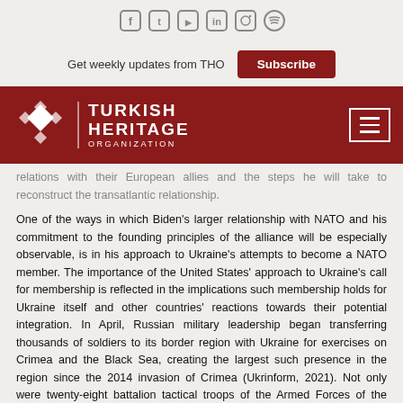[Figure (other): Social media icons row: Facebook, Twitter, YouTube, LinkedIn, Instagram, Spotify]
Get weekly updates from THO
Subscribe
[Figure (logo): Turkish Heritage Organization logo with diamond pattern and white text on dark red background, with hamburger menu icon on right]
relations with their European allies and the steps he will take to reconstruct the transatlantic relationship.
One of the ways in which Biden's larger relationship with NATO and his commitment to the founding principles of the alliance will be especially observable, is in his approach to Ukraine's attempts to become a NATO member. The importance of the United States' approach to Ukraine's call for membership is reflected in the implications such membership holds for Ukraine itself and other countries' reactions towards their potential integration. In April, Russian military leadership began transferring thousands of soldiers to its border region with Ukraine for exercises on Crimea and the Black Sea, creating the largest such presence in the region since the 2014 invasion of Crimea (Ukrinform, 2021). Not only were twenty-eight battalion tactical troops of the Armed Forces of the Russian Federation stationed throughout the border with Ukraine, but satellite images at the time also displayed other Russian military units